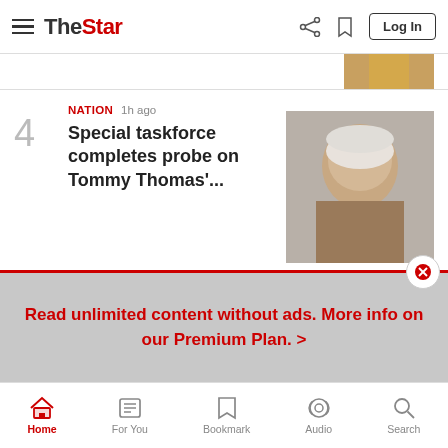The Star - navigation header with logo, share, bookmark, and Log In button
[Figure (photo): Partial image of a person in a yellow top, cropped at top of screen]
4 NATION 1h ago Special taskforce completes probe on Tommy Thomas'...
[Figure (photo): Photo of an older man with gray hair smiling, wearing a brown jacket, holding microphone]
5 NATION 51m ago Prosecution's appeal against acquittal of Samirah, teens set...
[Figure (photo): Photo of a woman wearing dark sunglasses and pink face mask, wrapped in brown shawl, holding red phone]
Read unlimited content without ads. More info on our Premium Plan. >
Home | For You | Bookmark | Audio | Search